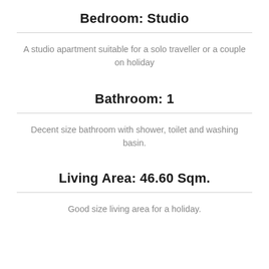Bedroom: Studio
A studio apartment suitable for a solo traveller or a couple on holiday
Bathroom: 1
Decent size bathroom with shower, toilet and washing basin.
Living Area: 46.60 Sqm.
Good size living area for a holiday.